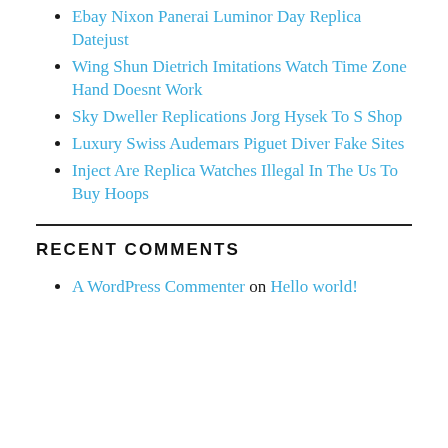Ebay Nixon Panerai Luminor Day Replica Datejust
Wing Shun Dietrich Imitations Watch Time Zone Hand Doesnt Work
Sky Dweller Replications Jorg Hysek To S Shop
Luxury Swiss Audemars Piguet Diver Fake Sites
Inject Are Replica Watches Illegal In The Us To Buy Hoops
RECENT COMMENTS
A WordPress Commenter on Hello world!